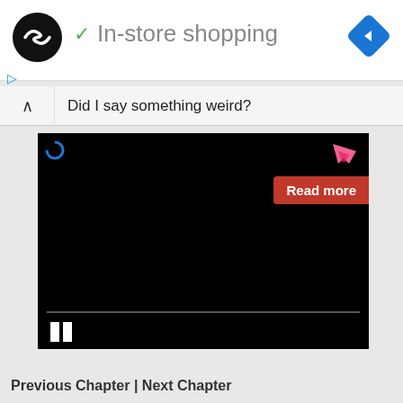[Figure (screenshot): App header with logo circle (infinity symbol), checkmark and 'In-store shopping' title, blue navigation diamond icon]
✓ In-store shopping
Did I say something weird?
[Figure (screenshot): Black video player with loading spinner, pink bookmark icon, red 'Read more' button, progress bar, and pause button]
Read more
Previous Chapter | Next Chapter